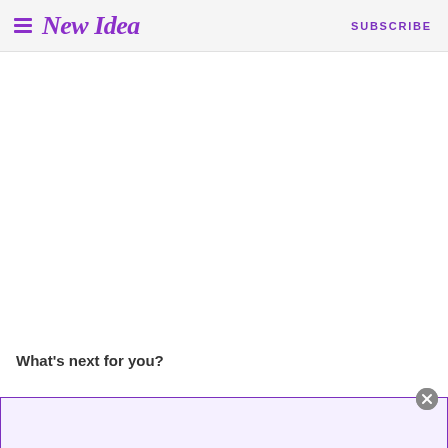New Idea | SUBSCRIBE
What’s next for you?
[Figure (other): Advertisement banner with purple border at bottom of page with a close button (×)]